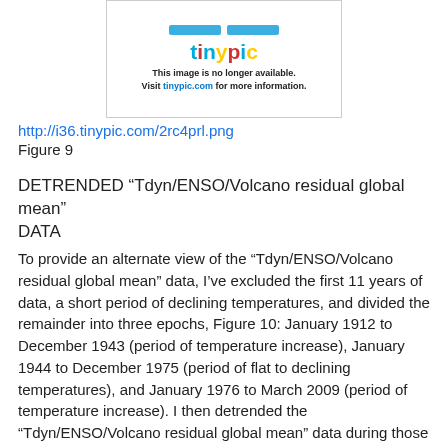[Figure (other): Tinypic placeholder image showing 'This image is no longer available. Visit tinypic.com for more information.' with the tinypic logo.]
http://i36.tinypic.com/2rc4prl.png
Figure 9
DETRENDED “Tdyn/ENSO/Volcano residual global mean” DATA
To provide an alternate view of the “Tdyn/ENSO/Volcano residual global mean” data, I’ve excluded the first 11 years of data, a short period of declining temperatures, and divided the remainder into three epochs, Figure 10: January 1912 to December 1943 (period of temperature increase), January 1944 to December 1975 (period of flat to declining temperatures), and January 1976 to March 2009 (period of temperature increase). I then detrended the “Tdyn/ENSO/Volcano residual global mean” data during those periods and compared them to the “ENSO fit” and “Volcano fit” datasets, the two major climate variables, to